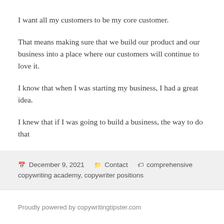I want all my customers to be my core customer.
That means making sure that we build our product and our business into a place where our customers will continue to love it.
I know that when I was starting my business, I had a great idea.
I knew that if I was going to build a business, the way to do that
📅 December 9, 2021   🗂 Contact   🏷 comprehensive copywriting academy, copywriter positions
Proudly powered by copywritingtipster.com